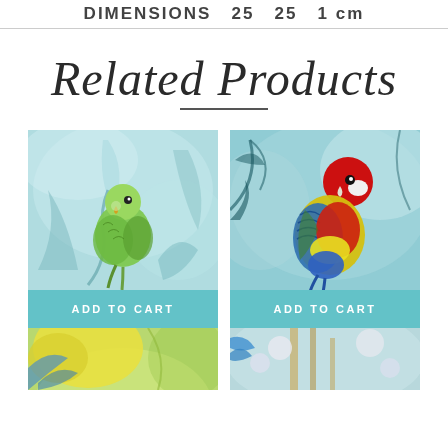DIMENSIONS 25 25 1 cm
Related Products
[Figure (photo): Green parrot/budgie on teal watercolor botanical background with ADD TO CART button below]
[Figure (photo): Colorful Eastern Rosella parrot (red, yellow, blue, green) on teal botanical background with ADD TO CART button below]
[Figure (photo): Yellow and green budgie with blue feathers, partially visible at bottom left]
[Figure (photo): White/light blue bird partially visible at bottom right]